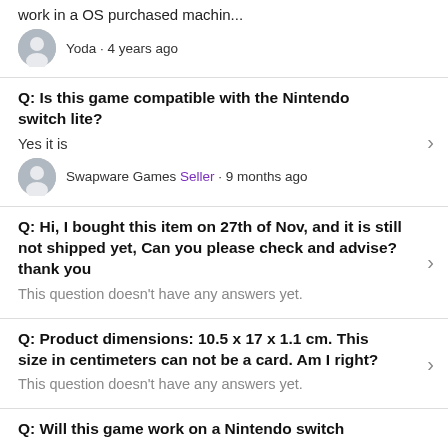work in a OS purchased machin...
Yoda · 4 years ago
Q: Is this game compatible with the Nintendo switch lite?
Yes it is
Swapware Games Seller · 9 months ago
Q: Hi, I bought this item on 27th of Nov, and it is still not shipped yet, Can you please check and advise? thank you
This question doesn't have any answers yet.
Q: Product dimensions: 10.5 x 17 x 1.1 cm. This size in centimeters can not be a card. Am I right?
This question doesn't have any answers yet.
Q: Will this game work on a Nintendo switch